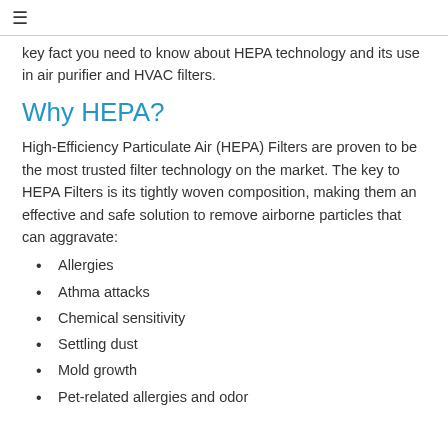≡
key fact you need to know about HEPA technology and its use in air purifier and HVAC filters.
Why HEPA?
High-Efficiency Particulate Air (HEPA) Filters are proven to be the most trusted filter technology on the market. The key to HEPA Filters is its tightly woven composition, making them an effective and safe solution to remove airborne particles that can aggravate:
Allergies
Athma attacks
Chemical sensitivity
Settling dust
Mold growth
Pet-related allergies and odor